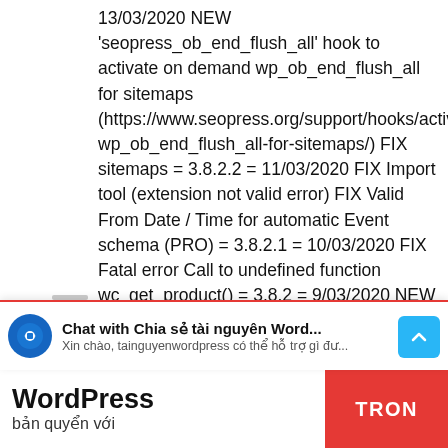13/03/2020 NEW 'seopress_ob_end_flush_all' hook to activate on demand wp_ob_end_flush_all for sitemaps (https://www.seopress.org/support/hooks/activate-wp_ob_end_flush_all-for-sitemaps/) FIX sitemaps = 3.8.2.2 = 11/03/2020 FIX Import tool (extension not valid error) FIX Valid From Date / Time for automatic Event schema (PRO) = 3.8.2.1 = 10/03/2020 FIX Fatal error Call to undefined function wc_get_product() = 3.8.2 = 9/03/2020 NEW 🎉 Advanced conditions for schemas! (PRO) NEW Google Mobile Preview! NEW TranslatePress compatibility! NEW "remove post category links from breadcrumbs" option (SEO, PRO, Breadcrumbs) NEW Import redirects from Rank Math NEW SEO Ultimate import tool NEW WP Meta SEO import tool NEW Custom capability for SEOPress pages (https://www.seopress.org/support/hooks/filter-user-capacities/) NEW Add servesCuisine property to
[Figure (screenshot): Chat widget bar at bottom: logo, title 'Chat with Chia sẻ tài nguyên Word...', subtitle 'Xin chào, tainguyenwordpress có thể hỗ trợ gì đư...', Messenger icon]
WordPress
bản quyển với
TRON